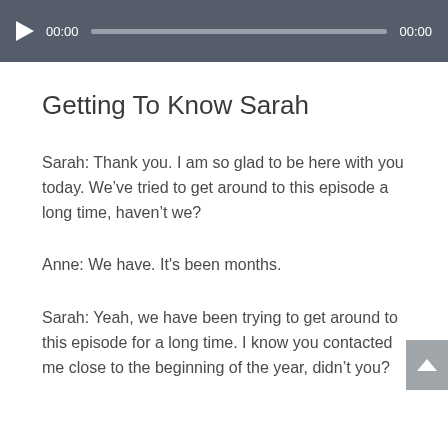[Figure (screenshot): Audio player bar with play button, time display (00:00), progress track, and end time (00:00) on dark gray background]
Getting To Know Sarah
Sarah: Thank you. I am so glad to be here with you today. We’ve tried to get around to this episode a long time, haven’t we?
Anne: We have. It's been months.
Sarah: Yeah, we have been trying to get around to this episode for a long time. I know you contacted me close to the beginning of the year, didn’t you?